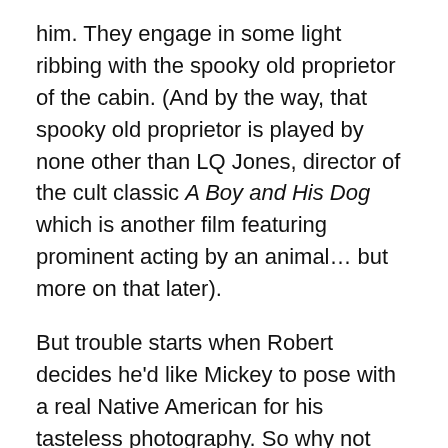him. They engage in some light ribbing with the spooky old proprietor of the cabin. (And by the way, that spooky old proprietor is played by none other than LQ Jones, director of the cult classic A Boy and His Dog which is another film featuring prominent acting by an animal… but more on that later).
But trouble starts when Robert decides he'd like Mickey to pose with a real Native American for his tasteless photography. So why not jaunt on up to the hunting cabin of a local Indian and see if he's available for some on-camera work? Seems easy enough. Except that as Charles, Robert and Stephen make their way to the remote cabin their float plane hits a flock of migrating geese. They crash. The pilot dies. And before you know it, Charles, Robert, and Stephen are stranded in the